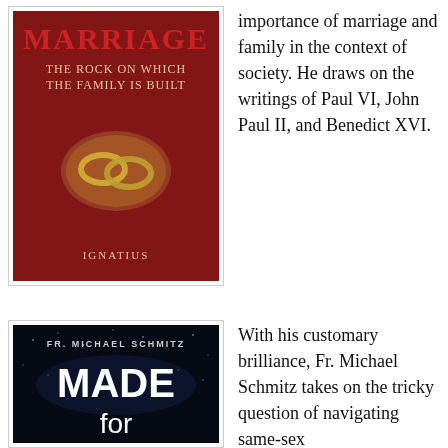[Figure (photo): Book cover: MARRIAGE - The Rock on Which the Family is Built, Ignatius. Red cover with two wedding rings.]
importance of marriage and family in the context of society. He draws on the writings of Paul VI, John Paul II, and Benedict XVI.
[Figure (photo): Book cover: FR. MICHAEL SCHMITZ - MADE for (partial). Dark space/galaxy background with large white text.]
With his customary brilliance, Fr. Michael Schmitz takes on the tricky question of navigating same-sex